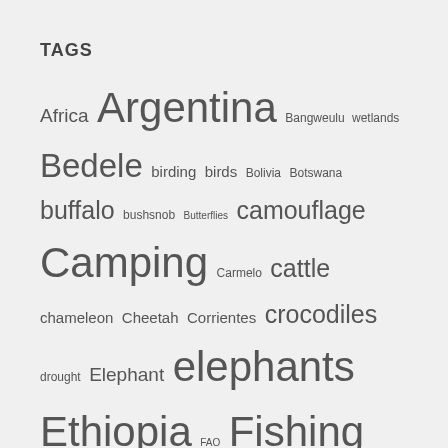TAGS
Africa Argentina Bangweulu wetlands Bedele birding birds Bolivia Botswana buffalo bushsnob Butterflies camouflage Camping Carmelo cattle chameleon Cheetah Corrientes crocodiles drought Elephant elephants Ethiopia FAO Fishing Friends Gallinato garden Gonarezhou Gonarezhou National Park Harare hippo Hippos hwange Hwange National Park hyenas insects intona Intona Ranch Italy Kenya Kruger National Park Leopard Lion lions Lusaka Maasai Maasai Mara Maasai Mara Game Reserve Mana Pools Mana Pools National Park Mantis Masuma dam Moth Muguga Murumbi Nairobi Rift valley Rome Safari Salta